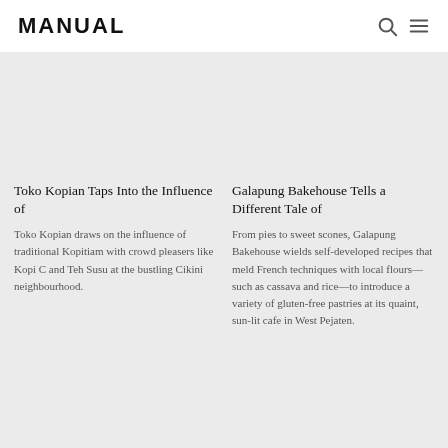MANUAL
Toko Kopian Taps Into the Influence of
Toko Kopian draws on the influence of traditional Kopitiam with crowd pleasers like Kopi C and Teh Susu at the bustling Cikini neighbourhood.
Galapung Bakehouse Tells a Different Tale of
From pies to sweet scones, Galapung Bakehouse wields self-developed recipes that meld French techniques with local flours—such as cassava and rice—to introduce a variety of gluten-free pastries at its quaint, sun-lit cafe in West Pejaten.